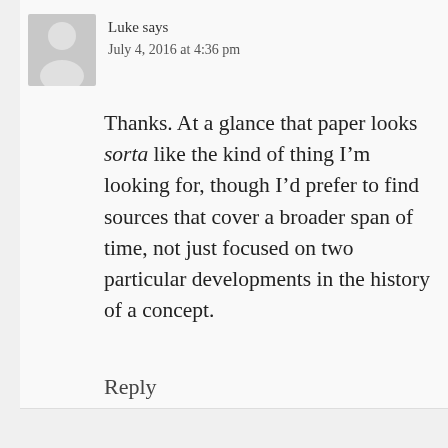Luke says
July 4, 2016 at 4:36 pm
Thanks. At a glance that paper looks sorta like the kind of thing I’m looking for, though I’d prefer to find sources that cover a broader span of time, not just focused on two particular developments in the history of a concept.
Reply